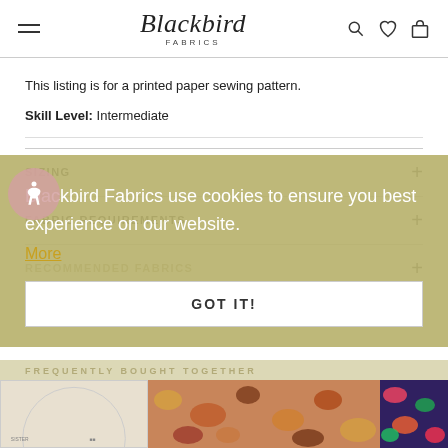Blackbird Fabrics
This listing is for a printed paper sewing pattern.
Skill Level: Intermediate
SIZING
FABRIC REQUIREMENTS
RECOMMENDED FABRICS
Blackbird Fabrics use cookies to ensure you best experience on our website.
More
GOT IT!
FREQUENTLY BOUGHT TOGETHER
[Figure (photo): Product images for frequently bought together section]